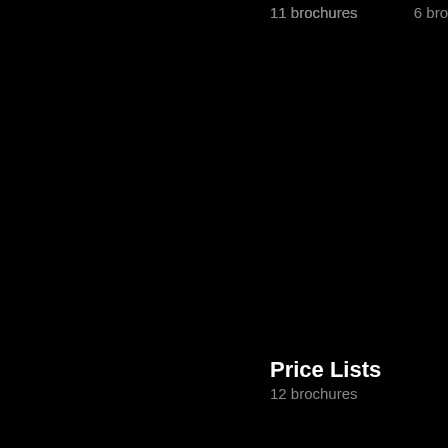11 brochures
6 bro
Price Lists
12 brochures
System and Con
46 bro